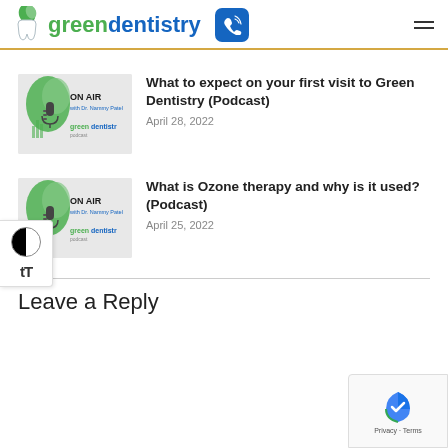greendentistry
[Figure (screenshot): Podcast thumbnail: ON AIR with Dr. Nammy Patel, greendentistry podcast logo]
What to expect on your first visit to Green Dentistry (Podcast)
April 28, 2022
[Figure (screenshot): Podcast thumbnail: ON AIR with Dr. Nammy Patel, greendentistry podcast logo]
What is Ozone therapy and why is it used? (Podcast)
April 25, 2022
Leave a Reply